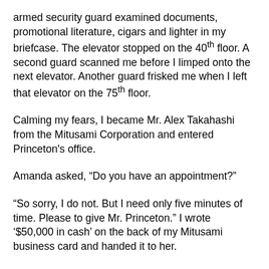armed security guard examined documents, promotional literature, cigars and lighter in my briefcase. The elevator stopped on the 40th floor. A second guard scanned me before I limped onto the next elevator. Another guard frisked me when I left that elevator on the 75th floor.
Calming my fears, I became Mr. Alex Takahashi from the Mitusami Corporation and entered Princeton's office.
Amanda asked, “Do you have an appointment?”
“So sorry, I do not. But I need only five minutes of time. Please to give Mr. Princeton.” I wrote ‘$50,000 in cash’ on the back of my Mitusami business card and handed it to her.